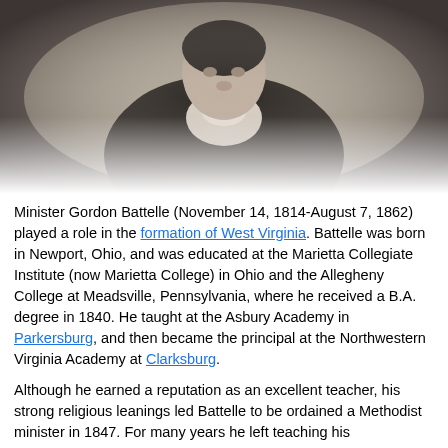[Figure (photo): Black and white engraved portrait of Minister Gordon Battelle, a man in 19th century formal attire with a dark jacket and white cravat, shown from the chest up against a vignette background.]
Minister Gordon Battelle (November 14, 1814-August 7, 1862) played a role in the formation of West Virginia. Battelle was born in Newport, Ohio, and was educated at the Marietta Collegiate Institute (now Marietta College) in Ohio and the Allegheny College at Meadsville, Pennsylvania, where he received a B.A. degree in 1840. He taught at the Asbury Academy in Parkersburg, and then became the principal at the Northwestern Virginia Academy at Clarksburg.
Although he earned a reputation as an excellent teacher, his strong religious leanings led Battelle to be ordained a Methodist minister in 1847. For many years he left teaching...